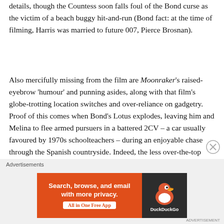details, though the Countess soon falls foul of the Bond curse as the victim of a beach buggy hit-and-run (Bond fact: at the time of filming, Harris was married to future 007, Pierce Brosnan).
Also mercifully missing from the film are Moonraker's raised-eyebrow 'humour' and punning asides, along with that film's globe-trotting location switches and over-reliance on gadgetry. Proof of this comes when Bond's Lotus explodes, leaving him and Melina to flee armed pursuers in a battered 2CV – a car usually favoured by 1970s schoolteachers – during an enjoyable chase through the Spanish countryside. Indeed, the less over-the-top nature of the stunt set pieces is a strength of
Advertisements
[Figure (other): DuckDuckGo advertisement banner: orange background with text 'Search, browse, and email with more privacy. All in One Free App' and DuckDuckGo duck logo on dark background.]